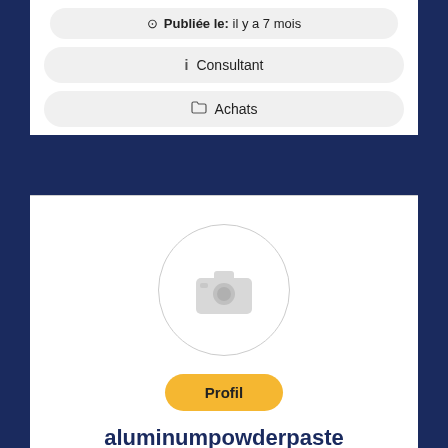Publiée le: il y a 7 mois
Consultant
Achats
[Figure (illustration): Circular avatar placeholder with a camera icon in light gray]
Profil
aluminumpowderpaste
Agroalimentaire